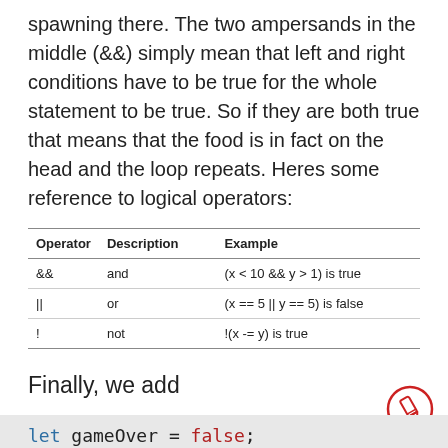spawning there. The two ampersands in the middle (&&) simply mean that left and right conditions have to be true for the whole statement to be true. So if they are both true that means that the food is in fact on the head and the loop repeats. Heres some reference to logical operators:
| Operator | Description | Example |
| --- | --- | --- |
| && | and | (x < 10 && y > 1) is true |
| || | or | (x == 5 || y == 5) is false |
| ! | not | !(x -= y) is true |
Finally, we add
[Figure (illustration): A red hand-drawn circle with a pencil icon inside, indicating an edit or annotation marker.]
let gameOver = false;